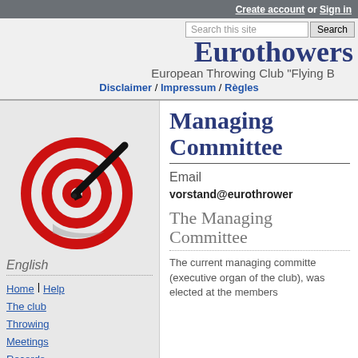Create account or Sign in
Eurothowers
European Throwing Club "Flying B
Disclaimer / Impressum / Règles
[Figure (logo): Eurothowers logo: red spiral target with a throwing knife/boomerang hitting it, with a grey shadow]
English
Home | Help
The club
Throwing
Meetings
Records
Shop
Managing Committee
Email
vorstand@eurothrower
The Managing Committee
The current managing committe (executive organ of the club), was elected at the members